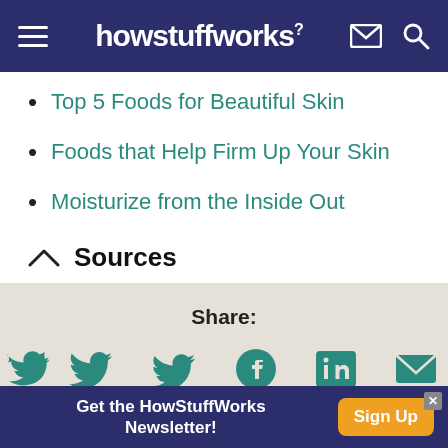howstuffworks
Top 5 Foods for Beautiful Skin
Foods that Help Firm Up Your Skin
Moisturize from the Inside Out
Sources
[Figure (infographic): Share section with Twitter, Facebook, LinkedIn, and Email icons, followed by Citation link, on a beige background]
Get the HowStuffWorks Newsletter! Sign Up